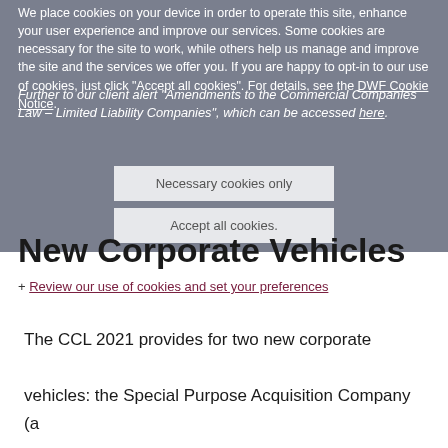We place cookies on your device in order to operate this site, enhance your user experience and improve our services. Some cookies are necessary for the site to work, while others help us manage and improve the site and the services we offer you. If you are happy to opt-in to our use of cookies, just click "Accept all cookies". For details, see the DWF Cookie Notice.
Further to our client alert "Amendments to the Commercial Companies Law – Limited Liability Companies", which can be accessed here.
Necessary cookies only
Accept all cookies.
New Corporate Vehicles
+ Review our use of cookies and set your preferences
The CCL 2021 provides for two new corporate vehicles: the Special Purpose Acquisition Company (a "SPAC") and the Special Purpose Vehicle (a "SPV").